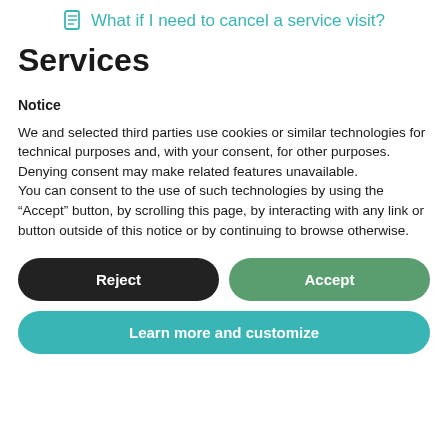What if I need to cancel a service visit?
Services
Notice
We and selected third parties use cookies or similar technologies for technical purposes and, with your consent, for other purposes. Denying consent may make related features unavailable.
You can consent to the use of such technologies by using the “Accept” button, by scrolling this page, by interacting with any link or button outside of this notice or by continuing to browse otherwise.
Reject
Accept
Learn more and customize